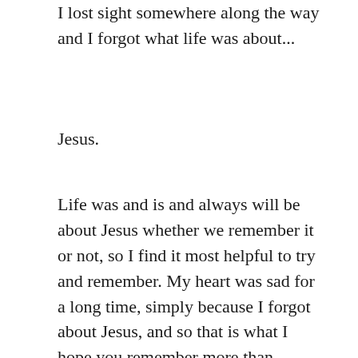I lost sight somewhere along the way and I forgot what life was about...
Jesus.
Life was and is and always will be about Jesus whether we remember it or not, so I find it most helpful to try and remember. My heart was sad for a long time, simply because I forgot about Jesus, and so that is what I hope you remember more than anything else, more than your sandwiches that looked like faces, more than Ms. JJ dancing in the kitchen or the puppet who has surfaced in our last few days together, I hope you always remember who Jesus is.